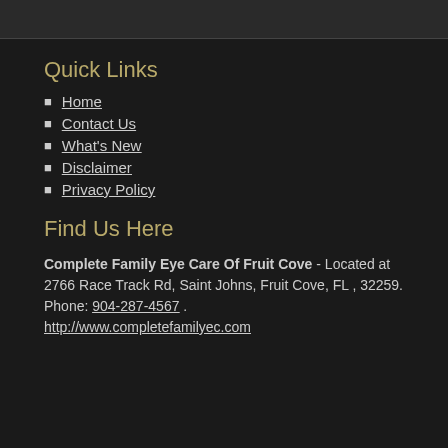Quick Links
Home
Contact Us
What's New
Disclaimer
Privacy Policy
Find Us Here
Complete Family Eye Care Of Fruit Cove - Located at 2766 Race Track Rd, Saint Johns, Fruit Cove, FL , 32259. Phone: 904-287-4567 . http://www.completefamilyec.com